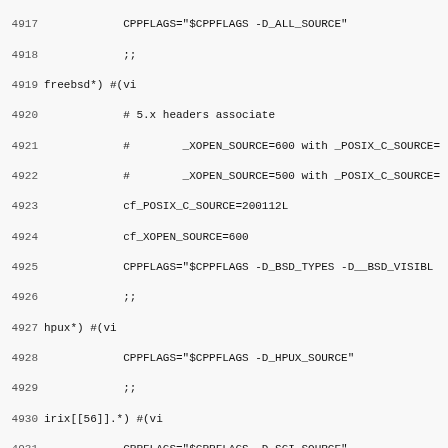Code listing lines 4917-4948, shell script snippet for platform detection and CPPFLAGS configuration